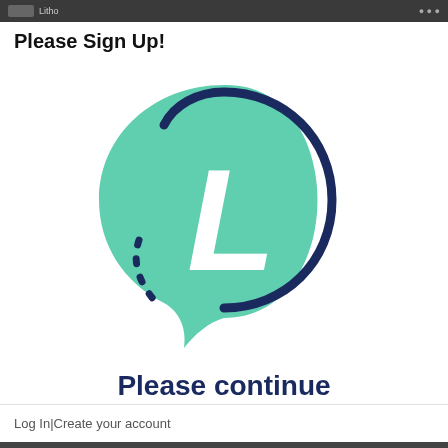Please Sign Up!
[Figure (logo): Litecoin logo: a teal/mint green speech-bubble shaped circle with a dark navy border arc and white 'L' letter mark, with dotted arc decoration at the bottom-left]
Please continue
Log In|Create your account